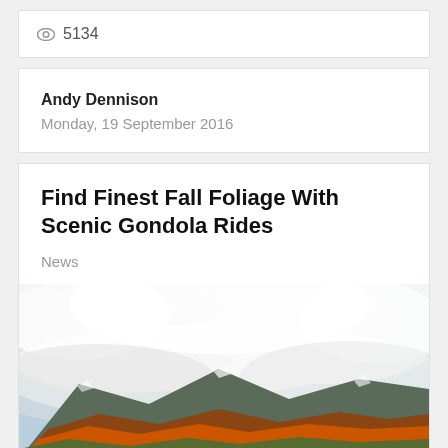5134
Andy Dennison
Monday, 19 September 2016
Find Finest Fall Foliage With Scenic Gondola Rides
News
[Figure (photo): Mountain landscape with fall foliage and snow-capped peaks obscured by clouds and mist]